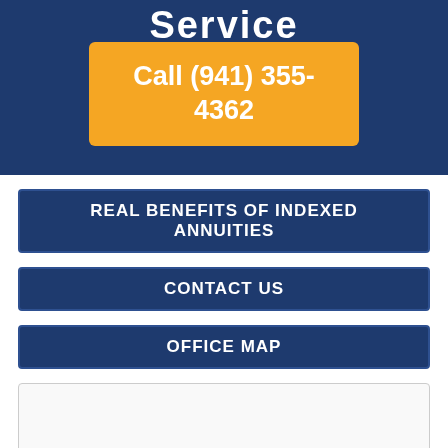Service
Call (941) 355-4362
REAL BENEFITS OF INDEXED ANNUITIES
CONTACT US
OFFICE MAP
[Figure (other): Blank map placeholder box]